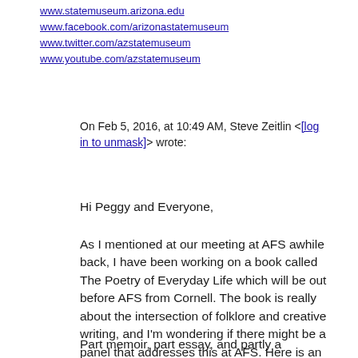www.statemuseum.arizona.edu
www.facebook.com/arizonastatemuseum
www.twitter.com/azstatemuseum
www.youtube.com/azstatemuseum
On Feb 5, 2016, at 10:49 AM, Steve Zeitlin <[log in to unmask]> wrote:
Hi Peggy and Everyone,
As I mentioned at our meeting at AFS awhile back, I have been working on a book called The Poetry of Everyday Life which will be out before AFS from Cornell.  The book is really about the intersection of folklore and creative writing, and I'm wondering if there might be a panel that addresses this at AFS.  Here is an informal write up about the book which could be the theme of a panel.  Let me know if this sparks any possibilities.  Hope you're all doing well. Steve
Part memoir, part essay, and partly a